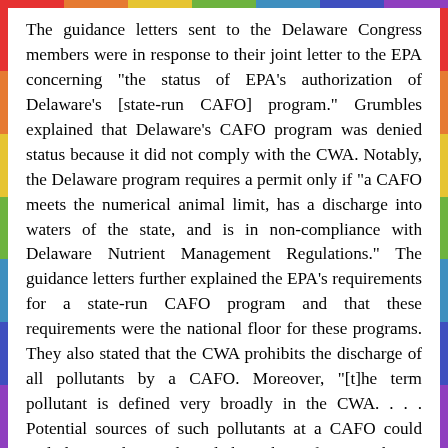The guidance letters sent to the Delaware Congress members were in response to their joint letter to the EPA concerning "the status of EPA's authorization of Delaware's [state-run CAFO] program." Grumbles explained that Delaware's CAFO program was denied status because it did not comply with the CWA. Notably, the Delaware program requires a permit only if "a CAFO meets the numerical animal limit, has a discharge into waters of the state, and is in non-compliance with Delaware Nutrient Management Regulations." The guidance letters further explained the EPA's requirements for a state-run CAFO program and that these requirements were the national floor for these programs. They also stated that the CWA prohibits the discharge of all pollutants by a CAFO. Moreover, "[t]he term pollutant is defined very broadly in the CWA. . . . Potential sources of such pollutants at a CAFO could include . . . litter released through confinement house ventilation fans."